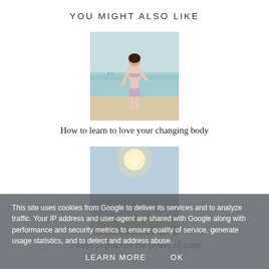YOU MIGHT ALSO LIKE
[Figure (photo): A woman standing on a beach in a bikini with ocean water behind her]
How to learn to love your changing body
[Figure (photo): A sunny beach scene with bright sun over calm water and sandy shore]
5 ways to practice the power of calm
This site uses cookies from Google to deliver its services and to analyze traffic. Your IP address and user-agent are shared with Google along with performance and security metrics to ensure quality of service, generate usage statistics, and to detect and address abuse.
LEARN MORE    OK